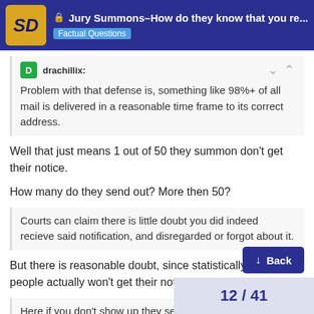🔒 Jury Summons–How do they know that you re... | Factual Questions
drachillix:
Problem with that defense is, something like 98%+ of all mail is delivered in a reasonable time frame to its correct address.
Well that just means 1 out of 50 they summon don't get their notice.
How many do they send out? More then 50?
Courts can claim there is little doubt you did indeed recieve said notification, and disregarded or forgot about it.
But there is reasonable doubt, since statistically some people actually won't get their notice.
Here if you don't show up they send you saying you have 21 days to appear and…